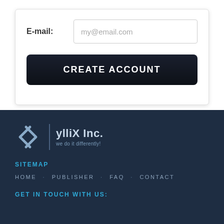E-mail:
my@email.com
CREATE ACCOUNT
[Figure (logo): ylliX Inc. logo with arrow/chevron symbol and tagline 'we do it differently!']
SITEMAP
HOME · PUBLISHER · FAQ · CONTACT
GET IN TOUCH WITH US: